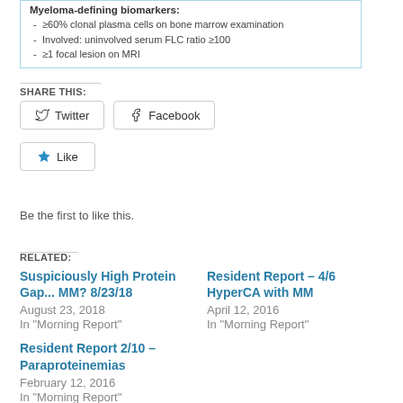[Figure (other): Partial view of a box listing Myeloma-defining biomarkers: ≥60% clonal plasma cells on bone marrow examination; Involved: uninvolved serum FLC ratio ≥100; ≥1 focal lesion on MRI]
SHARE THIS:
[Figure (other): Twitter and Facebook share buttons, Like button with star icon]
Be the first to like this.
RELATED:
Suspiciously High Protein Gap... MM? 8/23/18
August 23, 2018
In "Morning Report"
Resident Report – 4/6 HyperCA with MM
April 12, 2016
In "Morning Report"
Resident Report 2/10 – Paraproteinemias
February 12, 2016
In "Morning Report"